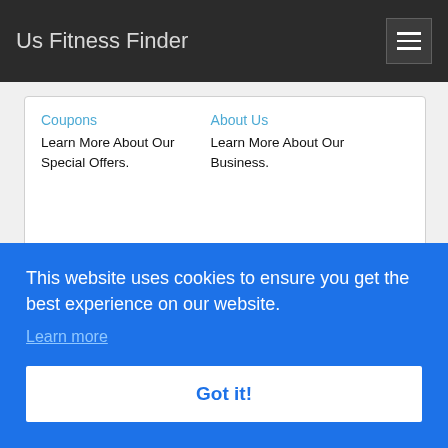Us Fitness Finder
Coupons - Learn More About Our Special Offers.
About Us - Learn More About Our Business.
Visit Site
Gym Near Me - Fitness Classes Near Me
This website uses cookies to ensure you get the best experience on our website.
Learn more
Got it!